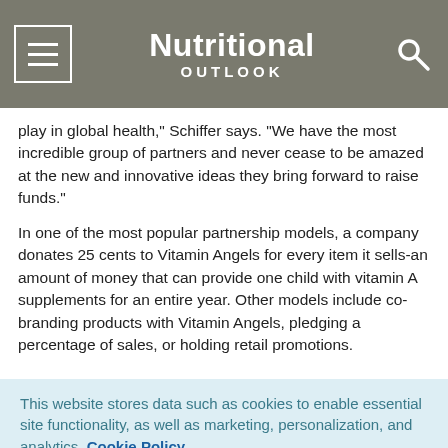Nutritional OUTLOOK
play in global health," Schiffer says. "We have the most incredible group of partners and never cease to be amazed at the new and innovative ideas they bring forward to raise funds."
In one of the most popular partnership models, a company donates 25 cents to Vitamin Angels for every item it sells-an amount of money that can provide one child with vitamin A supplements for an entire year. Other models include co-branding products with Vitamin Angels, pledging a percentage of sales, or holding retail promotions.
This website stores data such as cookies to enable essential site functionality, as well as marketing, personalization, and analytics. Cookie Policy
Accept
Deny